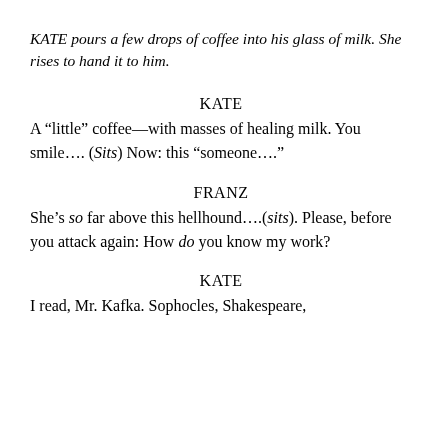KATE pours a few drops of coffee into his glass of milk. She rises to hand it to him.
KATE
A “little” coffee—with masses of healing milk. You smile…. (Sits) Now: this “someone….”
FRANZ
She’s so far above this hellhound….(sits). Please, before you attack again: How do you know my work?
KATE
I read, Mr. Kafka. Sophocles, Shakespeare,